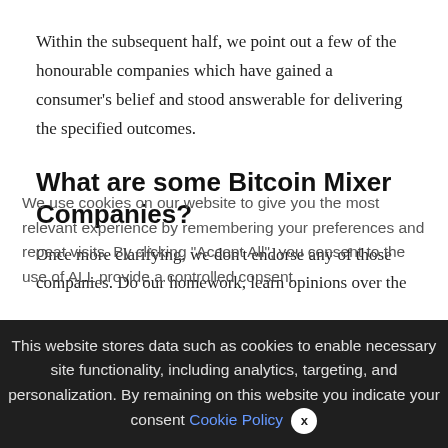Within the subsequent half, we point out a few of the honourable companies which have gained a consumer's belief and stood answerable for delivering the specified outcomes.
What are some Bitcoin Mixer Companies?
Once more clarifying, we don't endorse any of those companies. Do our homework, learn opinions over the
We use cookies on our website to give you the most relevant experience by remembering your preferences and repeat visits. By clicking "Accept All", you consent to the use of ALL provide a controlled consent.
This website stores data such as cookies to enable necessary site functionality, including analytics, targeting, and personalization. By remaining on this website you indicate your consent Cookie Policy